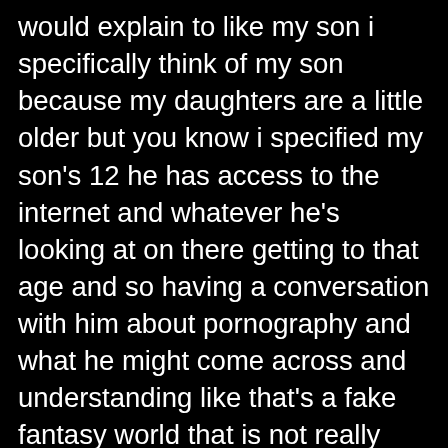would explain to like my son i specifically think of my son because my daughters are a little older but you know i specified my son's 12 he has access to the internet and whatever he's looking at on there getting to that age and so having a conversation with him about pornography and what he might come across and understanding like that's a fake fantasy world that is not really how sex works um similar to like like when you watch movies like the fast and the furious or you know military movies like that's not how cars work that's not how you know you can't go out and do those things in a car around the city and not die like similar with sex like what you see in porn and on the internet and these videos is not like the reality of how healthy sexual relationships should typically work one